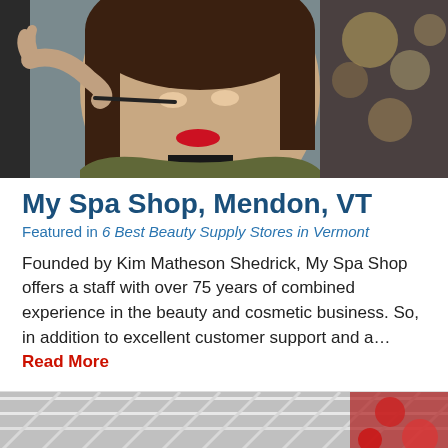[Figure (photo): A young woman with red lipstick having makeup applied near her eye by another person's hand, in a beauty store setting]
My Spa Shop, Mendon, VT
Featured in 6 Best Beauty Supply Stores in Vermont
Founded by Kim Matheson Shedrick, My Spa Shop offers a staff with over 75 years of combined experience in the beauty and cosmetic business. So, in addition to excellent customer support and a… Read More
[Figure (photo): Partial view of a building or structure with red and white decorative elements at the bottom of the page]